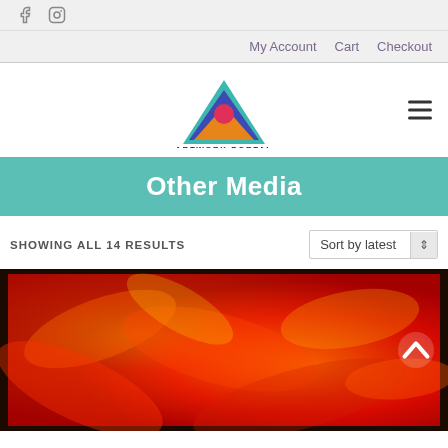Facebook | Instagram social icons
My Account | Cart | Checkout
[Figure (logo): Artwork Portal logo: colorful triangle with teal, blue, orange and pink, text ARTWORK PORTAL below]
Other Media
SHOWING ALL 14 RESULTS
Sort by latest
[Figure (photo): Close-up of abstract artwork with swirling red, orange, and yellow flame-like textures on a dark framed canvas]